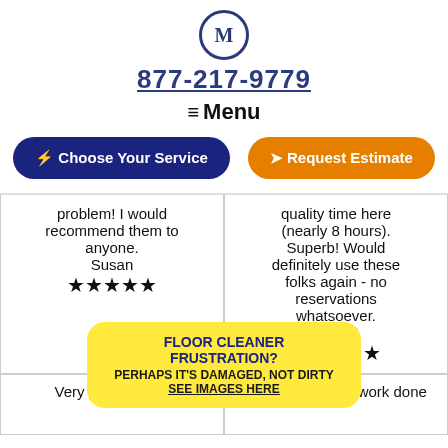[Figure (logo): M logo in a circle, dark navy border]
877-217-9779
≡ Menu
⚡ Choose Your Service
➤ Request Estimate
problem! I would recommend them to anyone.
Susan
★★★★★
quality time here (nearly 8 hours). Superb! Would definitely use these folks again - no reservations whatsoever.
Mike G
★★★★★
FLOOR CLEANER FRUSTRATION?
PERHAPS IT'S DAMAGED, NOT DIRTY
SEE IMAGES HERE
Very professional
pleased with the work done